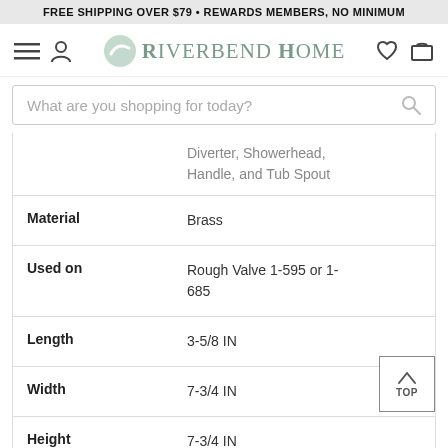FREE SHIPPING OVER $79 • REWARDS MEMBERS, NO MINIMUM
[Figure (logo): Riverbend Home logo with navigation icons (hamburger menu, user icon, heart, cart)]
|  | Diverter, Showerhead, Handle, and Tub Spout |
| Material | Brass |
| Used on | Rough Valve 1-595 or 1-685 |
| Length | 3-5/8 IN |
| Width | 7-3/4 IN |
| Height | 7-3/4 IN |